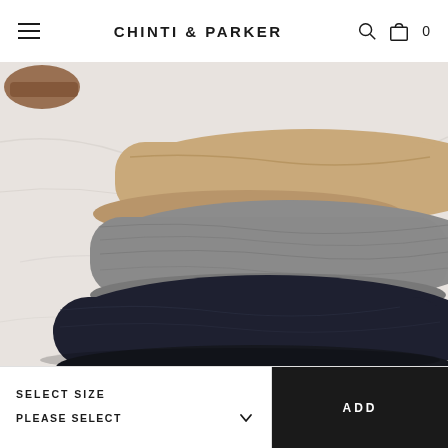CHINTI & PARKER — navigation header with hamburger menu, search icon, bag icon, and cart count 0
[Figure (photo): Stacked folded cashmere sweaters on a marble surface — from bottom to top: navy/dark navy, heather grey, and camel/tan. Partial view of a brown chair arm visible at top left.]
SELECT SIZE
PLEASE SELECT
ADD